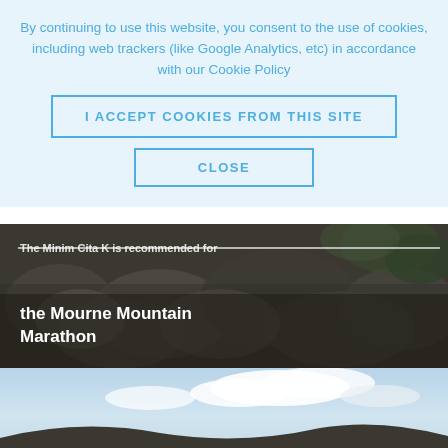By continuing to use this website, you consent to the use of cookies, including web trackers (like Google Analytics, etc) in accordance with our Cookie Policy
I ACCEPT COOKIES FROM THIS SITE
CLOSE
[Figure (photo): Dark rocky mountain background with text overlay. Partially visible strikethrough text at top, and bold white text reading 'the Mourne Mountain Marathon'. Below is a blue button bar reading 'ALL RACES'.]
SLEEP SYSTEMS
Optimised layering: maximum versatility; minimum weight.
[Figure (photo): Landscape photo showing sky with clouds and a dark hillside silhouette at the bottom.]